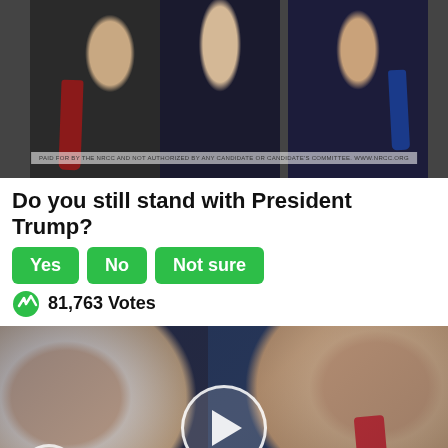[Figure (photo): Photo of people at top of page, with disclaimer text overlay]
Do you still stand with President Trump?
Yes   No   Not sure
81,763 Votes
[Figure (photo): Video thumbnail of Melania and Donald Trump with play button overlay, close button, and smaller play button in corner]
Democrats Want This Video Destroyed —